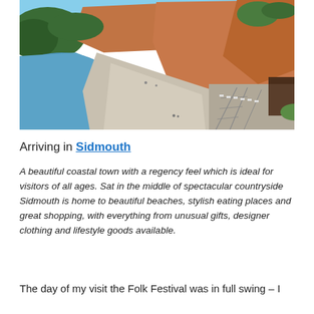[Figure (photo): Aerial view of Sidmouth beach, showing a curved pebble beach with calm blue water on the left, red sandstone cliffs in the background, beach huts and facilities on the right side, and a few visitors on the beach.]
Arriving in Sidmouth
A beautiful coastal town with a regency feel which is ideal for visitors of all ages. Sat in the middle of spectacular countryside Sidmouth is home to beautiful beaches, stylish eating places and great shopping, with everything from unusual gifts, designer clothing and lifestyle goods available.
The day of my visit the Folk Festival was in full swing – I